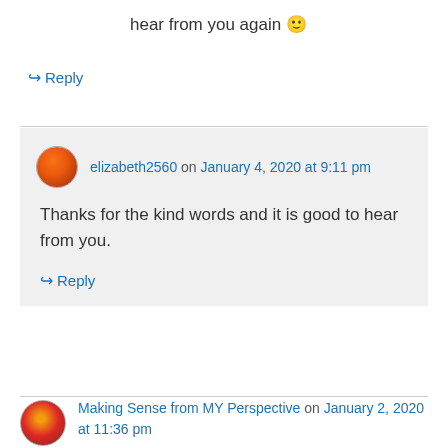hear from you again 🙂
↪ Reply
elizabeth2560 on January 4, 2020 at 9:11 pm
Thanks for the kind words and it is good to hear from you.
↪ Reply
Making Sense from MY Perspective on January 2, 2020 at 11:36 pm
This post makes me feel so happy and hopeful. I too am thankful to be out of my former marriage and believe I have been able to become a better